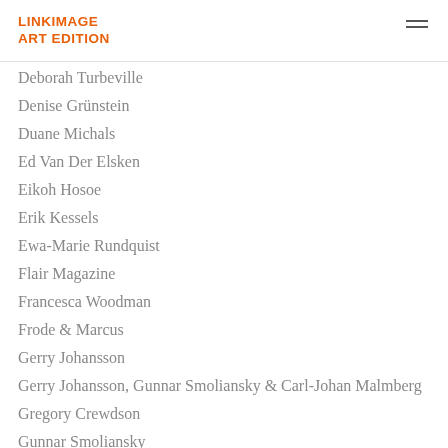LINKIMAGE ART EDITION
Deborah Turbeville
Denise Grünstein
Duane Michals
Ed Van Der Elsken
Eikoh Hosoe
Erik Kessels
Ewa-Marie Rundquist
Flair Magazine
Francesca Woodman
Frode & Marcus
Gerry Johansson
Gerry Johansson, Gunnar Smoliansky & Carl-Johan Malmberg
Gregory Crewdson
Gunnar Smoliansky
Helen Levitt
Helene Schmitz